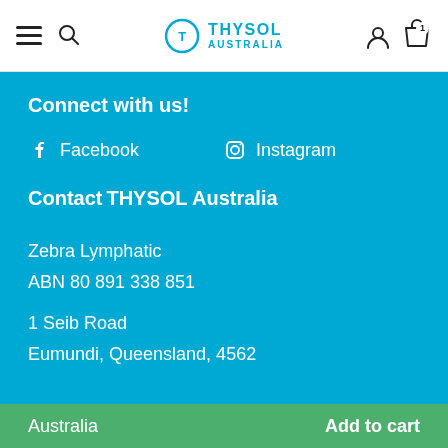THYSOL AUSTRALIA [navigation header with hamburger, search, logo, user and cart icons]
Connect with us!
Facebook
Instagram
Contact
THYSOL Australia
Zebra Lymphatic
ABN 80 891 338 851

1 Seib Road
Eumundi, Queensland, 4562
Australia
Add to cart